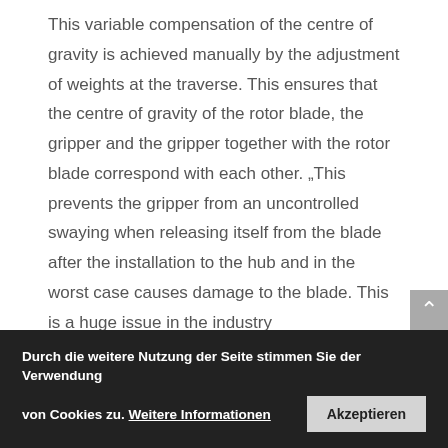This variable compensation of the centre of gravity is achieved manually by the adjustment of weights at the traverse. This ensures that the centre of gravity of the rotor blade, the gripper and the gripper together with the rotor blade correspond with each other. „This prevents the gripper from an uncontrolled swaying when releasing itself from the blade after the installation to the hub and in the worst case causes damage to the blade. This is a huge issue in the industry
Tilting angle of ±60 degrees
The tilting angle of ± 60 degrees, was a
Durch die weitere Nutzung der Seite stimmen Sie der Verwendung von Cookies zu. Weitere Informationen